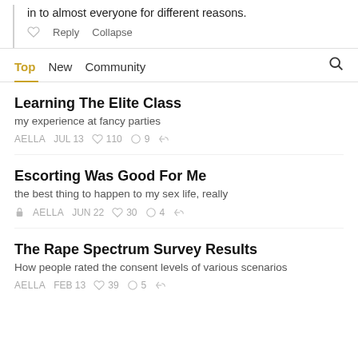in to almost everyone for different reasons.
Reply   Collapse
Top   New   Community
Learning The Elite Class
my experience at fancy parties
AELLA  JUL 13  ♡ 110  ○ 9  share
Escorting Was Good For Me
the best thing to happen to my sex life, really
AELLA  JUN 22  ♡ 30  ○ 4  share
The Rape Spectrum Survey Results
How people rated the consent levels of various scenarios
AELLA  FEB 13  ♡ 39  ○ 5  share